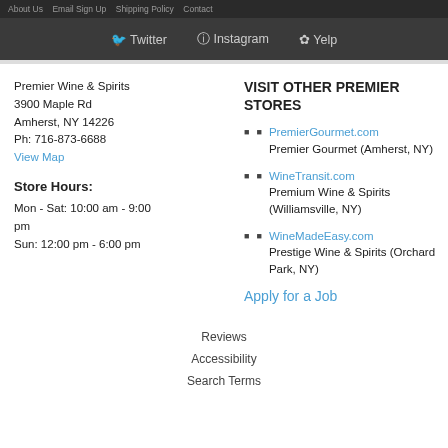Twitter  Instagram  Yelp
Premier Wine & Spirits
3900 Maple Rd
Amherst, NY 14226
Ph: 716-873-6688
View Map
Store Hours:
Mon - Sat: 10:00 am - 9:00 pm
Sun: 12:00 pm - 6:00 pm
VISIT OTHER PREMIER STORES
PremierGourmet.com Premier Gourmet (Amherst, NY)
WineTransit.com Premium Wine & Spirits (Williamsville, NY)
WineMadeEasy.com Prestige Wine & Spirits (Orchard Park, NY)
Apply for a Job
Reviews  Accessibility  Search Terms